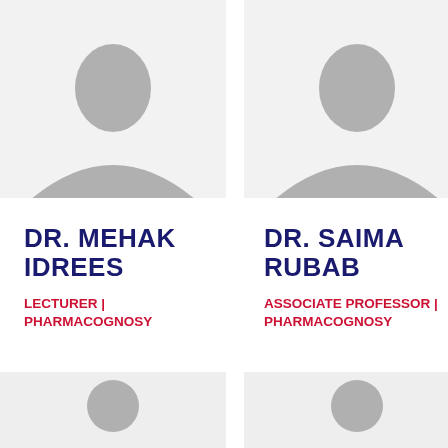[Figure (photo): Placeholder silhouette photo for Dr. Mehak Idrees - top half only, grey background, shows head/shoulder shape from above]
[Figure (photo): Placeholder silhouette photo for Dr. Saima Rubab - top half only, grey background, shows head/shoulder shape from above]
DR. MEHAK IDREES
LECTURER | PHARMACOGNOSY
DR. SAIMA RUBAB
ASSOCIATE PROFESSOR | PHARMACOGNOSY
[Figure (photo): Full placeholder silhouette for person 3 - light grey background, full person icon with head circle and torso/shoulders]
[Figure (photo): Full placeholder silhouette for person 4 - light grey background, full person icon with head circle and torso/shoulders]